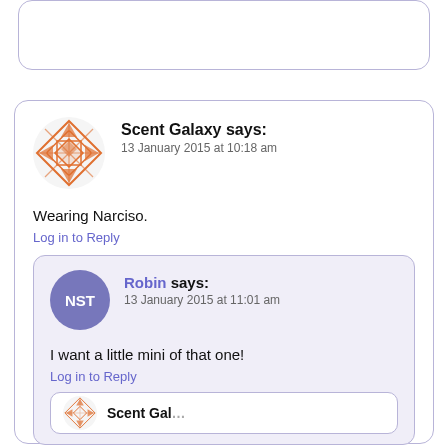[truncated comment card at top]
Scent Galaxy says: 13 January 2015 at 10:18 am
Wearing Narciso.
Log in to Reply
Robin says: 13 January 2015 at 11:01 am
I want a little mini of that one!
Log in to Reply
[Scent Galaxy nested reply card, partial]